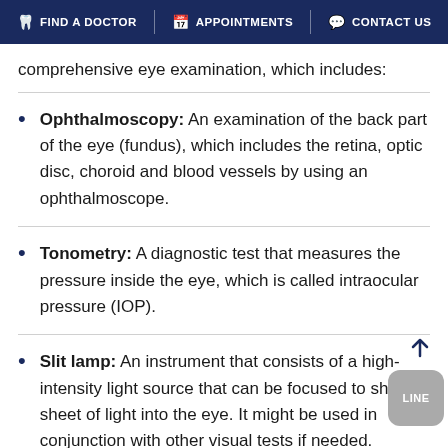FIND A DOCTOR   APPOINTMENTS   CONTACT US
comprehensive eye examination, which includes:
Ophthalmoscopy: An examination of the back part of the eye (fundus), which includes the retina, optic disc, choroid and blood vessels by using an ophthalmoscope.
Tonometry: A diagnostic test that measures the pressure inside the eye, which is called intraocular pressure (IOP).
Slit lamp: An instrument that consists of a high-intensity light source that can be focused to shine a sheet of light into the eye. It might be used in conjunction with other visual tests if needed.